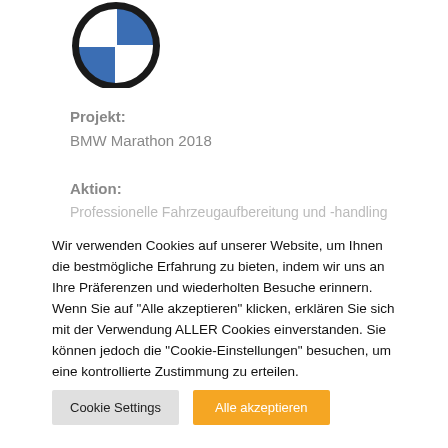[Figure (logo): BMW circular logo with blue and white quadrants and black ring]
Projekt:
BMW Marathon 2018
Aktion:
Professionelle Fahrzeugaufbereitung und -handling
Wir verwenden Cookies auf unserer Website, um Ihnen die bestmögliche Erfahrung zu bieten, indem wir uns an Ihre Präferenzen und wiederholten Besuche erinnern. Wenn Sie auf "Alle akzeptieren" klicken, erklären Sie sich mit der Verwendung ALLER Cookies einverstanden. Sie können jedoch die "Cookie-Einstellungen" besuchen, um eine kontrollierte Zustimmung zu erteilen.
Cookie Settings | Alle akzeptieren